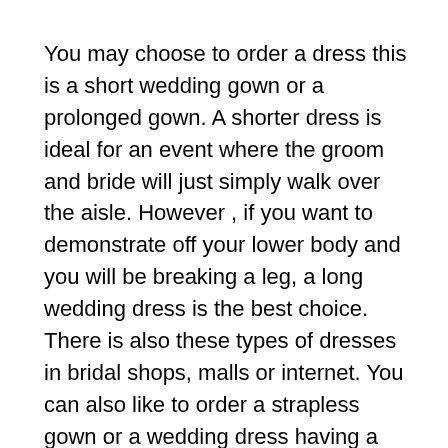You may choose to order a dress this is a short wedding gown or a prolonged gown. A shorter dress is ideal for an event where the groom and bride will just simply walk over the aisle. However , if you want to demonstrate off your lower body and you will be breaking a leg, a long wedding dress is the best choice. There is also these types of dresses in bridal shops, malls or internet. You can also like to order a strapless gown or a wedding dress having a spaghetti strap.
For anyone who is not comfortable investing in dresses via the internet, you can ask your friends or family members to let you select the clothing that you will be wearing on your big evening. A good advice can really help you in choosing the best dress. Everbody knows, the most important thought is the overall appearance of the outfit, but there are a few other factors to consider as